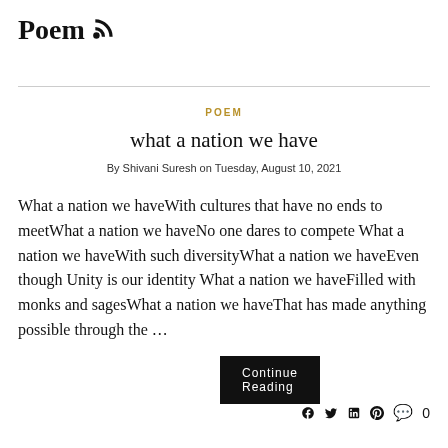Poem
POEM
what a nation we have
By Shivani Suresh on Tuesday, August 10, 2021
What a nation we haveWith cultures that have no ends to meetWhat a nation we haveNo one dares to compete What a nation we haveWith such diversityWhat a nation we haveEven though Unity is our identity What a nation we haveFilled with monks and sagesWhat a nation we haveThat has made anything possible through the …
Continue Reading
0